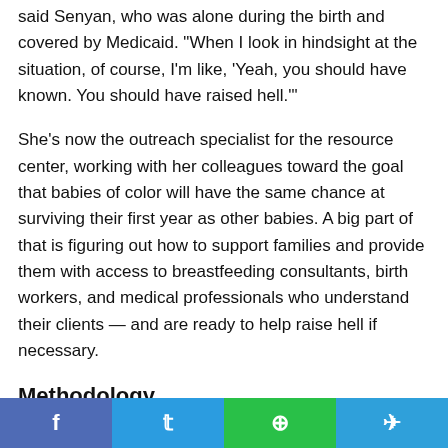said Senyan, who was alone during the birth and covered by Medicaid. "When I look in hindsight at the situation, of course, I'm like, 'Yeah, you should have known. You should have raised hell.'"
She's now the outreach specialist for the resource center, working with her colleagues toward the goal that babies of color will have the same chance at surviving their first year as other babies. A big part of that is figuring out how to support families and provide them with access to breastfeeding consultants, birth workers, and medical professionals who understand their clients — and are ready to help raise hell if necessary.
Methodology
KHN analyzed Linked Birth/Infant Death Records data from